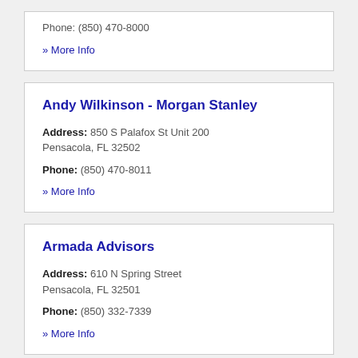Phone: (850) 470-8000
» More Info
Andy Wilkinson - Morgan Stanley
Address: 850 S Palafox St Unit 200 Pensacola, FL 32502
Phone: (850) 470-8011
» More Info
Armada Advisors
Address: 610 N Spring Street Pensacola, FL 32501
Phone: (850) 332-7339
» More Info